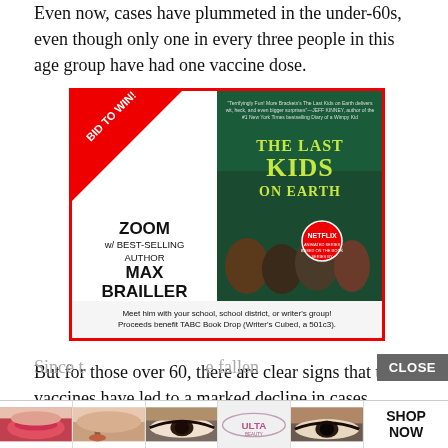Even now, cases have plummeted in the under-60s, even though only one in every three people in this age group have had one vaccine dose.
[Figure (illustration): Advertisement for 'Zoom w/ Best-Selling Author Max Brailler' featuring The Last Kids on Earth book cover (Netflix). Red diagonal 'BID TO WIN!' banner. Text: ZOOM w/ BEST-SELLING AUTHOR MAX BRAILLER. Bottom: Meet him with your school, school district, or writer's group! Proceeds benefit TABC Book Drop (Writer's Cubed, a 501c3).]
But for those over 60, there are clear signs that the vaccines have led to a marked decline in cases
Since t                                                       e fallen
[Figure (illustration): Bottom advertisement strip showing beauty product images (lips, makeup brush, eyes) with ULTA logo and SHOP NOW button, with a CLOSE button overlay.]